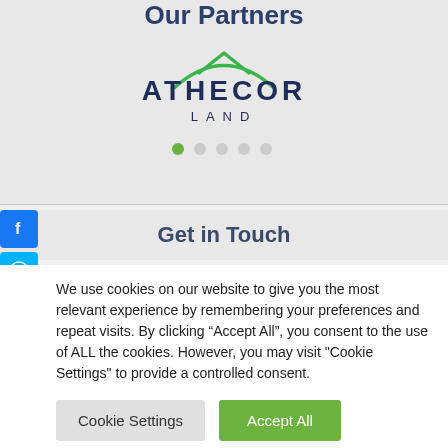Our Partners
[Figure (logo): Athecor Land logo with green arch/roof shape above bold navy ATHECOR text and LAND subtitle]
[Figure (other): Carousel navigation dots: 6 dots, first one green/active, rest grey]
Get in Touch
We use cookies on our website to give you the most relevant experience by remembering your preferences and repeat visits. By clicking “Accept All”, you consent to the use of ALL the cookies. However, you may visit "Cookie Settings" to provide a controlled consent.